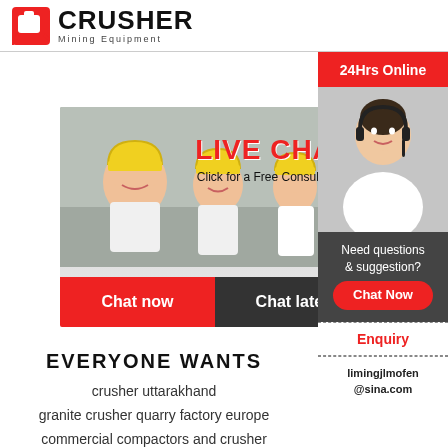CRUSHER Mining Equipment
[Figure (screenshot): Live chat popup with workers in hard hats, LIVE CHAT title in red, 'Click for a Free Consultation' subtitle, Chat now (red) and Chat later (dark) buttons]
[Figure (photo): Right sidebar showing 24Hrs Online in red, customer service woman with headset, Need questions & suggestion? text, Chat Now red button, Enquiry link, limingjlmofen@sina.com email]
EVERYONE WANTS
crusher uttarakhand
granite crusher quarry factory europe
commercial compactors and crusher